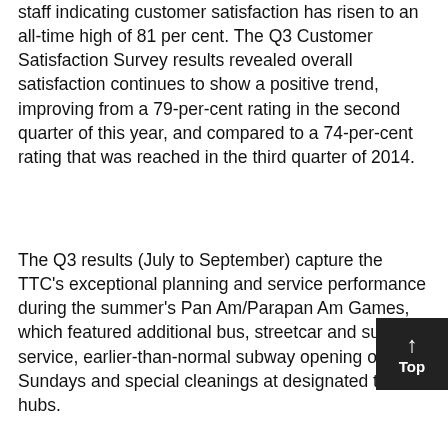staff indicating customer satisfaction has risen to an all-time high of 81 per cent. The Q3 Customer Satisfaction Survey results revealed overall satisfaction continues to show a positive trend, improving from a 79-per-cent rating in the second quarter of this year, and compared to a 74-per-cent rating that was reached in the third quarter of 2014.
The Q3 results (July to September) capture the TTC's exceptional planning and service performance during the summer's Pan Am/Parapan Am Games, which featured additional bus, streetcar and subway service, earlier-than-normal subway opening on Sundays and special cleanings at designated transit hubs.